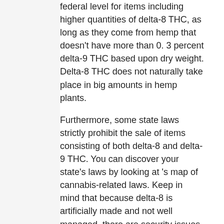federal level for items including higher quantities of delta-8 THC, as long as they come from hemp that doesn't have more than 0. 3 percent delta-9 THC based upon dry weight. Delta-8 THC does not naturally take place in big amounts in hemp plants.
Furthermore, some state laws strictly prohibit the sale of items consisting of both delta-8 and delta-9 THC. You can discover your state's laws by looking at 's map of cannabis-related laws. Keep in mind that because delta-8 is artificially made and not well managed, there are security issues.
Delta8